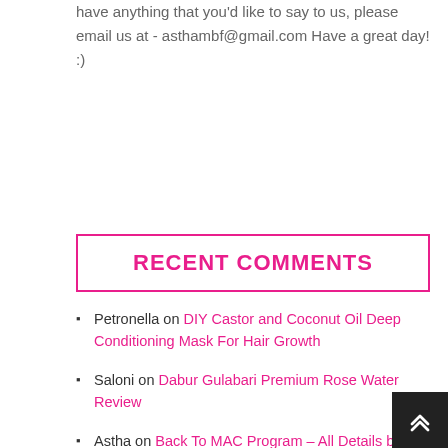have anything that you'd like to say to us, please email us at - asthambf@gmail.com Have a great day! :)
RECENT COMMENTS
Petronella on DIY Castor and Coconut Oil Deep Conditioning Mask For Hair Growth
Saloni on Dabur Gulabari Premium Rose Water Review
Astha on Back To MAC Program – All Details by MAC Makeup Artist
Sejal Gupta on MCaffeine Naked & Raw Coffee Face Mask Review